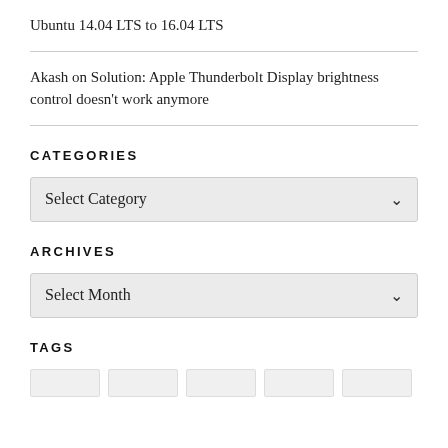Ubuntu 14.04 LTS to 16.04 LTS
Akash on Solution: Apple Thunderbolt Display brightness control doesn't work anymore
CATEGORIES
[Figure (other): Dropdown selector showing 'Select Category' with a down arrow]
ARCHIVES
[Figure (other): Dropdown selector showing 'Select Month' with a down arrow]
TAGS
Row of five empty tag boxes